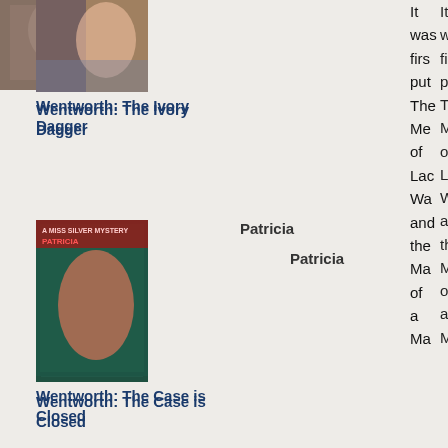[Figure (photo): Book cover for Patricia Wentworth: The Ivory Dagger, partially cropped at top]
Wentworth: The Ivory Dagger
Patricia
[Figure (photo): Book cover for Patricia Wentworth: The Case is Closed, showing a woman on the phone]
Wentworth: The Case is Closed
Patricia
[Figure (photo): Book cover for Patricia Wentworth: The Clock Strikes Twelve]
It was first put The Me of Lac Wa and the Ma of a Ma